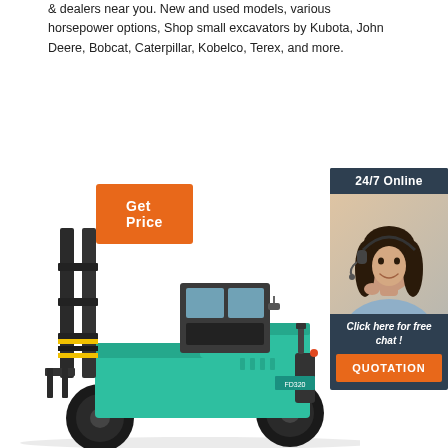& dealers near you. New and used models, various horsepower options, Shop small excavators by Kubota, John Deere, Bobcat, Caterpillar, Kobelco, Terex, and more.
[Figure (other): Orange 'Get Price' button]
[Figure (other): Chat widget with '24/7 Online' header, photo of a woman with headset, 'Click here for free chat!' text, and an orange 'QUOTATION' button]
[Figure (photo): Large teal/green Komatsu-style forklift (model FD320) photographed from the side, showing mast, cab, and large tires]